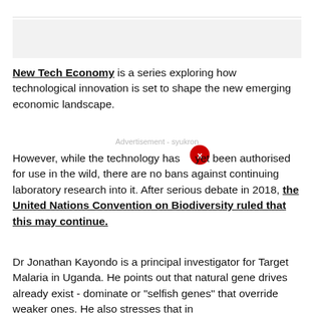[Figure (other): Gray advertisement placeholder box]
New Tech Economy is a series exploring how technological innovation is set to shape the new emerging economic landscape.
Advertisement - syukron
However, while the technology has not yet been authorised for use in the wild, there are no bans against continuing laboratory research into it. After serious debate in 2018, the United Nations Convention on Biodiversity ruled that this may continue.
Dr Jonathan Kayondo is a principal investigator for Target Malaria in Uganda. He points out that natural gene drives already exist - dominate or "selfish genes" that override weaker ones. He also stresses that in